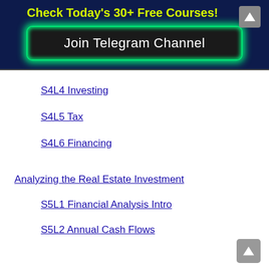Check Today's 30+ Free Courses!
[Figure (other): Join Telegram Channel button with glowing green border on dark navy background]
S4L4 Investing
S4L5 Tax
S4L6 Financing
Analyzing the Real Estate Investment
S5L1 Financial Analysis Intro
S5L2 Annual Cash Flows